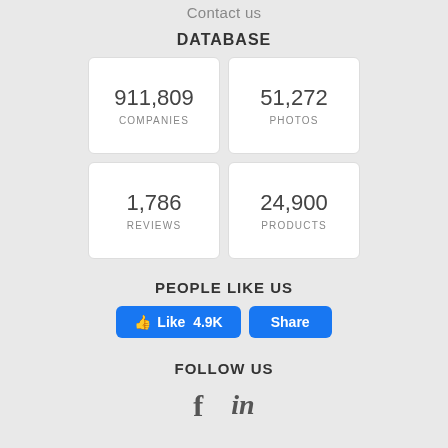Contact us
DATABASE
| 911,809 COMPANIES | 51,272 PHOTOS |
| 1,786 REVIEWS | 24,900 PRODUCTS |
PEOPLE LIKE US
[Figure (infographic): Facebook Like button showing 4.9K likes and a Share button, both in blue]
FOLLOW US
[Figure (infographic): Social media icons: Facebook (f) and LinkedIn (in)]